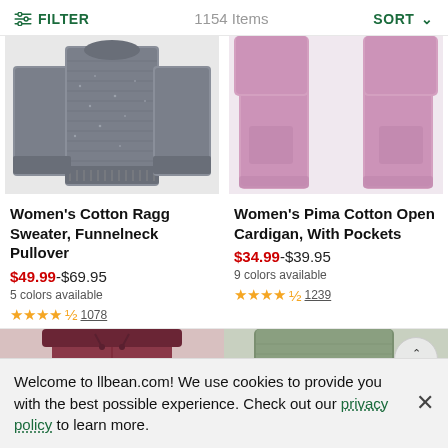FILTER  1154 Items  SORT
[Figure (photo): Women's Cotton Ragg Sweater, Funnelneck Pullover - gray knit sweater product photo on white background]
[Figure (photo): Women's Pima Cotton Open Cardigan, With Pockets - pink open cardigan product photo on white background]
Women's Cotton Ragg Sweater, Funnelneck Pullover
Women's Pima Cotton Open Cardigan, With Pockets
$49.99-$69.95
$34.99-$39.95
5 colors available
9 colors available
★★★★½ 1078
★★★★½ 1239
[Figure (photo): Partial view of dark red/maroon pants or shorts product photo]
[Figure (photo): Partial view of green knit top product photo with back-to-top button]
Welcome to llbean.com! We use cookies to provide you with the best possible experience. Check out our privacy policy to learn more.